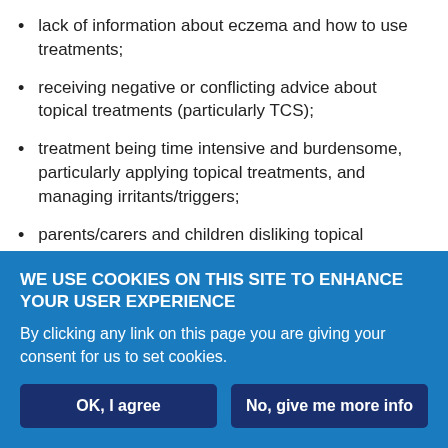lack of information about eczema and how to use treatments;
receiving negative or conflicting advice about topical treatments (particularly TCS);
treatment being time intensive and burdensome, particularly applying topical treatments, and managing irritants/triggers;
parents/carers and children disliking topical treatments (owing to feel/smell/stinging);
child resistance to parents applying topical treatments;
concerns about the safety of TCS and 'unnatural' ingredients included in emollients;
WE USE COOKIES ON THIS SITE TO ENHANCE YOUR USER EXPERIENCE
By clicking any link on this page you are giving your consent for us to set cookies.